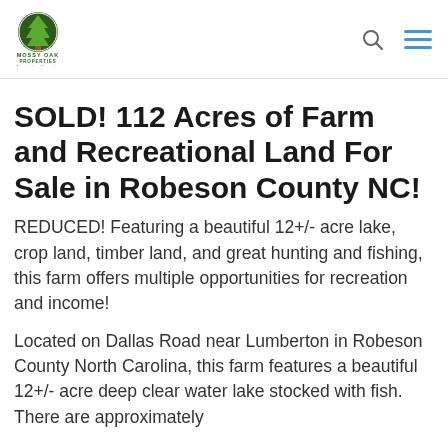[Figure (logo): Mossy Oak Properties logo - America's Land Specialists, green and dark circular emblem with tree]
SOLD! 112 Acres of Farm and Recreational Land For Sale in Robeson County NC!
REDUCED! Featuring a beautiful 12+/- acre lake, crop land, timber land, and great hunting and fishing, this farm offers multiple opportunities for recreation and income!
Located on Dallas Road near Lumberton in Robeson County North Carolina, this farm features a beautiful 12+/- acre deep clear water lake stocked with fish. There are approximately